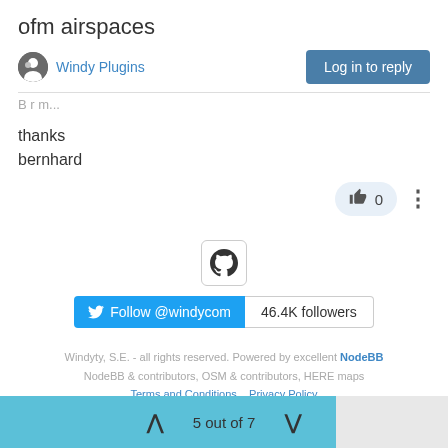ofm airspaces
Windy Plugins | Log in to reply
B r m...
thanks
bernhard
👍 0
[Figure (logo): GitHub icon in a bordered box]
[Figure (screenshot): Twitter Follow @windycom button with 46.4K followers badge]
Windyty, S.E. - all rights reserved. Powered by excellent NodeBB
NodeBB & contributors, OSM & contributors, HERE maps
Terms and Conditions   Privacy Policy
5 out of 7